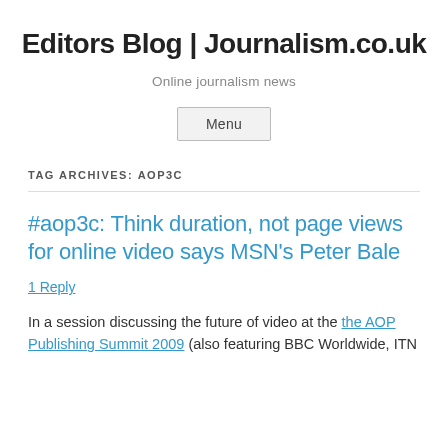Editors Blog | Journalism.co.uk
Online journalism news
Menu
TAG ARCHIVES: AOP3C
#aop3c: Think duration, not page views for online video says MSN's Peter Bale
1 Reply
In a session discussing the future of video at the the AOP Publishing Summit 2009 (also featuring BBC Worldwide, ITN